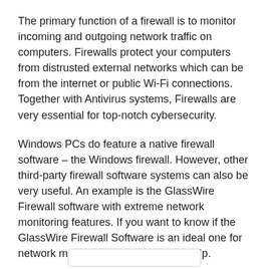The primary function of a firewall is to monitor incoming and outgoing network traffic on computers. Firewalls protect your computers from distrusted external networks which can be from the internet or public Wi-Fi connections. Together with Antivirus systems, Firewalls are very essential for top-notch cybersecurity.
Windows PCs do feature a native firewall software – the Windows firewall. However, other third-party firewall software systems can also be very useful. An example is the GlassWire Firewall software with extreme network monitoring features. If you want to know if the GlassWire Firewall Software is an ideal one for network monitoring, this review will help.